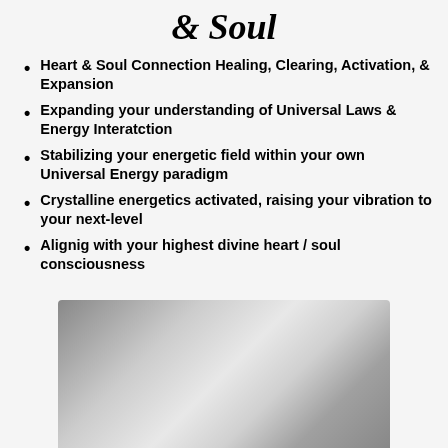& Soul
Heart & Soul Connection Healing, Clearing, Activation, & Expansion
Expanding your understanding of Universal Laws & Energy Interatction
Stabilizing your energetic field within your own Universal Energy paradigm
Crystalline energetics activated, raising your vibration to your next-level
Alignig with your highest divine heart / soul consciousness
[Figure (photo): Blurred grayscale photo with light and shadow gradient, partially visible at bottom of page]